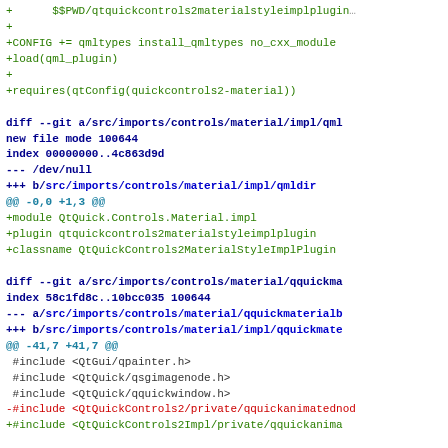Diff/patch code snippet showing git changes to Qt Quick Controls 2 Material style implementation files, including qmldir and qquickmaterialb files
+      $$PWD/qtquickcontrols2materialstyleimplplugin...
+
+CONFIG += qmltypes install_qmltypes no_cxx_module
+load(qml_plugin)
+
+requires(qtConfig(quickcontrols2-material))
diff --git a/src/imports/controls/material/impl/qml...
new file mode 100644
index 00000000..4c863d9d
--- /dev/null
+++ b/src/imports/controls/material/impl/qmldir
@@ -0,0 +1,3 @@
+module QtQuick.Controls.Material.impl
+plugin qtquickcontrols2materialstyleimplplugin
+classname QtQuickControls2MaterialStyleImplPlugin
diff --git a/src/imports/controls/material/qquickma...
index 58c1fd8c..10bcc035 100644
--- a/src/imports/controls/material/qquickmaterialb...
+++ b/src/imports/controls/material/impl/qquickmate...
@@ -41,7 +41,7 @@
 #include <QtGui/qpainter.h>
 #include <QtQuick/qsgimagenode.h>
 #include <QtQuick/qquickwindow.h>
-#include <QtQuickControls2/private/qquickanimatednodeh...
+#include <QtQuickControls2Impl/private/qquickanima...

 QT_BEGIN_NAMESPACE